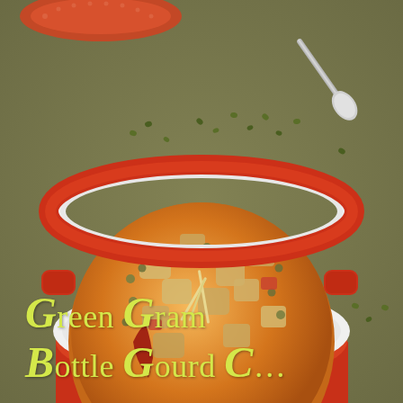[Figure (photo): Top-down food photography on an olive/khaki green textured surface. A red ceramic mini casserole pot with two handles contains a rich orange-brown curry of green gram (mung beans) and bottle gourd/lauki, garnished with thin ginger julienne strips and a dried red chili. Scattered small green mung beans are visible on the surface around the pot. In the upper portion, a partial view of a decorative orange/red plate with dotted rim is visible, along with a silver spoon resting on the surface.]
Green Gram Bottle Gourd C...